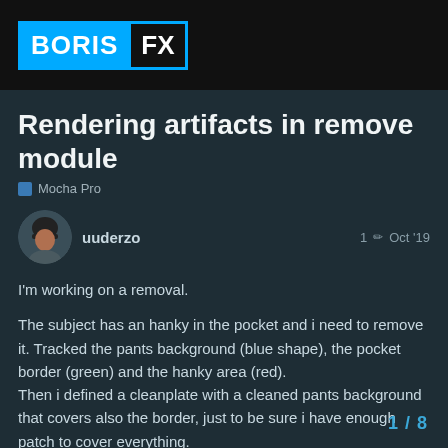[Figure (logo): Boris FX logo with BORIS in blue box and FX in outlined box on black background]
Rendering artifacts in remove module
Mocha Pro
uuderzo
1 Oct '19
I'm working on a removal.

The subject has an hanky in the pocket and i need to remove it. Tracked the pants background (blue shape), the pocket border (green) and the hanky area (red).
Then i defined a cleanplate with a cleaned pants background that covers also the border, just to be sure i have enough patch to cover everything.
But when rendering i get an artifact, like the pocket border interferes in some way. I expected the white artifact to be filled with the cleanplate content. Looks like the width the pants movement, in some way.
1 / 8